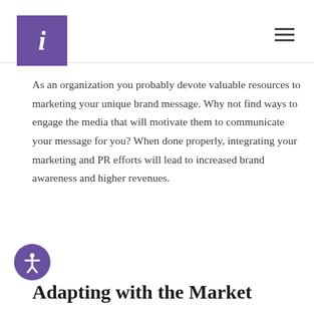i [logo]
As an organization you probably devote valuable resources to marketing your unique brand message. Why not find ways to engage the media that will motivate them to communicate your message for you? When done properly, integrating your marketing and PR efforts will lead to increased brand awareness and higher revenues.
Adapting with the Market